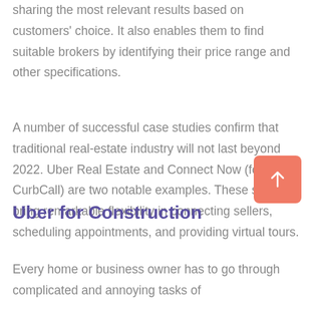sharing the most relevant results based on customers' choice. It also enables them to find suitable brokers by identifying their price range and other specifications.
A number of successful case studies confirm that traditional real-estate industry will not last beyond 2022. Uber Real Estate and Connect Now (formerly CurbCall) are two notable examples. These services bring remarkable flexibility in connecting sellers, scheduling appointments, and providing virtual tours.
Uber for Construction
Every home or business owner has to go through complicated and annoying tasks of